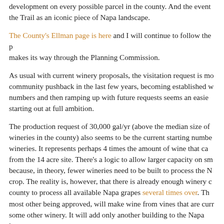development on every possible parcel in the county. And the event… the Trail as an iconic piece of Napa landscape.
The County's Ellman page is here and I will continue to follow the p… makes its way through the Planning Commission.
As usual with current winery proposals, the visitation request is mo… community pushback in the last few years, becoming established w… numbers and then ramping up with future requests seems an easie… starting out at full ambition.
The production request of 30,000 gal/yr (above the median size of… wineries in the county) also seems to be the current starting numbe… wineries. It represents perhaps 4 times the amount of wine that ca… from the 14 acre site. There's a logic to allow larger capacity on sm… because, in theory, fewer wineries need to be built to process the N… crop. The reality is, however, that there is already enough winery c… county to process all available Napa grapes several times over. Th… most other being approved, will make wine from vines that are curr… some other winery. It will add only another building to the Napa lan… more wine to the Napa wine industry.
Note that in terms of the real wine industry, Ellman, like Mountain P… next to me, already makes wine and markets it through tasting roo… in online portals. The Mountain Peak brand is also marketed throug…